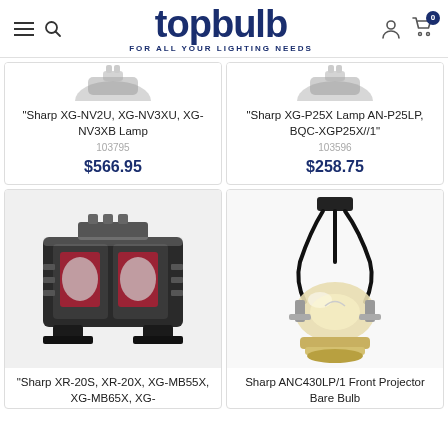topbulb — FOR ALL YOUR LIGHTING NEEDS
[Figure (screenshot): Partially cropped product image of Sharp XG-NV2U, XG-NV3XU, XG-NV3XB projector lamp]
"Sharp XG-NV2U, XG-NV3XU, XG-NV3XB Lamp
103795
$566.95
[Figure (screenshot): Partially cropped product image of Sharp XG-P25X projector lamp]
"Sharp XG-P25X Lamp AN-P25LP, BQC-XGP25X//1"
103596
$258.75
[Figure (photo): Projector lamp module — Sharp XR-20S, XR-20X, XG-MB55X, XG-MB65X, XG- (image partially cut off)]
"Sharp XR-20S, XR-20X, XG-MB55X, XG-MB65X, XG-
[Figure (photo): Bare projector bulb — Sharp ANC430LP/1 Front Projector Bare Bulb (image partially cut off)]
Sharp ANC430LP/1 Front Projector Bare Bulb